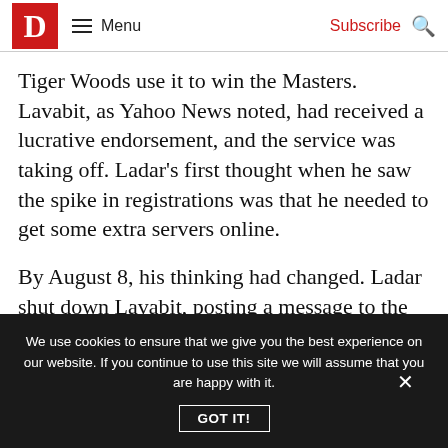D | Menu | Subscribe | 🔍
Tiger Woods use it to win the Masters. Lavabit, as Yahoo News noted, had received a lucrative endorsement, and the service was taking off. Ladar's first thought when he saw the spike in registrations was that he needed to get some extra servers online.
By August 8, his thinking had changed. Ladar shut down Lavabit, posting a message to the site that brought him even more attention than had Snowden's implicit endorsement. Ladar's note to his
We use cookies to ensure that we give you the best experience on our website. If you continue to use this site we will assume that you are happy with it.
GOT IT!